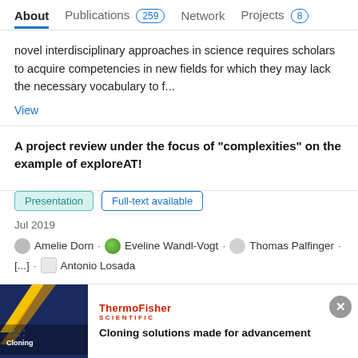About  Publications 259  Network  Projects 8
novel interdisciplinary approaches in science requires scholars to acquire competencies in new fields for which they may lack the necessary vocabulary to f...
View
A project review under the focus of "complexities" on the example of exploreAT!
Presentation  Full-text available
Jul 2019
Amelie Dorn · Eveline Wandl-Vogt · Thomas Palfinger · [...] · Antonio Losada
View
Advertisement
[Figure (screenshot): Thermo Fisher Scientific advertisement banner with dark blue image showing cloning-related imagery and text 'Cloning solutions made for advancement']